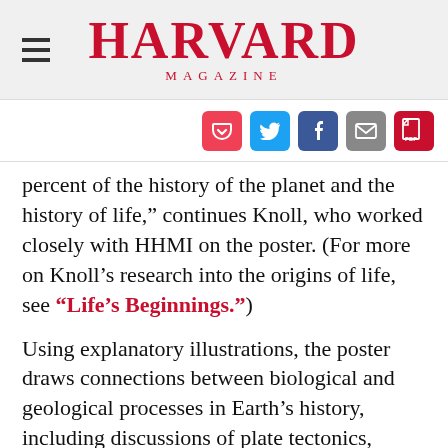HARVARD MAGAZINE
[Figure (infographic): Row of five social sharing icons: Pocket (red), Twitter (blue), Facebook (dark blue), Email (gray), PDF (red)]
percent of the history of the planet and the history of life," continues Knoll, who worked closely with HHMI on the poster. (For more on Knoll's research into the origins of life, see "Life's Beginnings.")
Using explanatory illustrations, the poster draws connections between biological and geological processes in Earth's history, including discussions of plate tectonics, chemical cycles, the greenhouse effect, early photosynthesis, and, significantly, the oxygenation of the planet. The story of oxygen, in fact, is really the story of Earth. Knoll and his